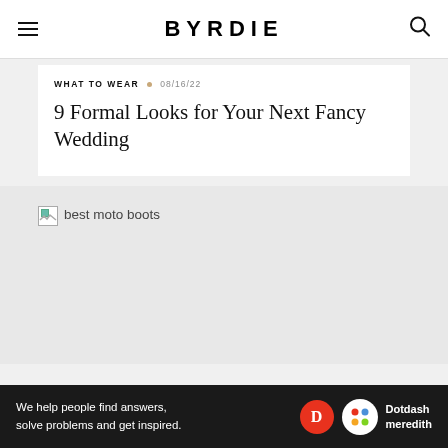BYRDIE
WHAT TO WEAR · 08/16/22
9 Formal Looks for Your Next Fancy Wedding
[Figure (photo): Broken image placeholder with alt text 'best moto boots']
We help people find answers, solve problems and get inspired. Dotdash meredith